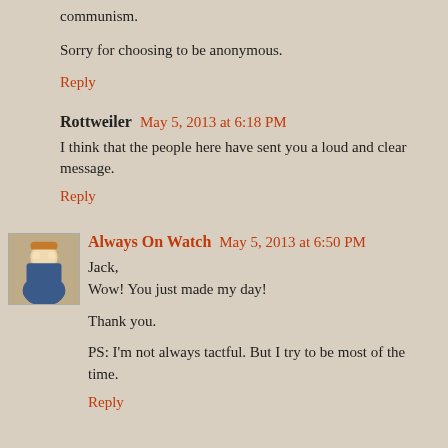communism.
Sorry for choosing to be anonymous.
Reply
Rottweiler  May 5, 2013 at 6:18 PM
I think that the people here have sent you a loud and clear message.
Reply
Always On Watch  May 5, 2013 at 6:50 PM
Jack,
Wow! You just made my day!
Thank you.
PS: I'm not always tactful. But I try to be most of the time.
Reply